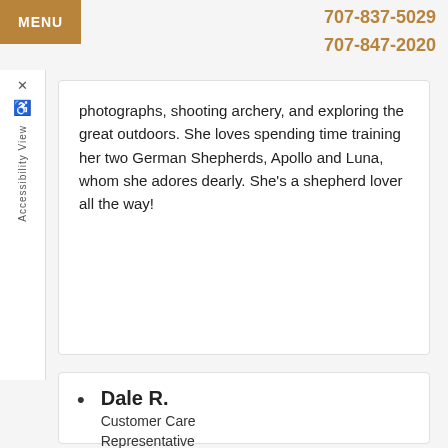MENU   707-837-5029   707-847-2020
photographs, shooting archery, and exploring the great outdoors. She loves spending time training her two German Shepherds, Apollo and Luna, whom she adores dearly. She's a shepherd lover all the way!
Dale R.
Customer Care Representative
Bio Coming Soon